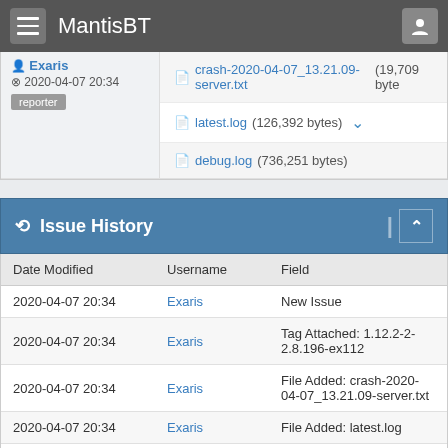MantisBT
Exaris
2020-04-07 20:34
reporter
crash-2020-04-07_13.21.09-server.txt (19,709 bytes)
latest.log (126,392 bytes)
debug.log (736,251 bytes)
Issue History
| Date Modified | Username | Field |
| --- | --- | --- |
| 2020-04-07 20:34 | Exaris | New Issue |
| 2020-04-07 20:34 | Exaris | Tag Attached: 1.12.2-2-2.8.196-ex112 |
| 2020-04-07 20:34 | Exaris | File Added: crash-2020-04-07_13.21.09-server.txt |
| 2020-04-07 20:34 | Exaris | File Added: latest.log |
| 2020-04-07 20:34 | Exaris | File Added: debug.log |
| 2020-04-08 11:42 | Chocohead | Relationship added |
| 2020-04-08 11:44 | Chocohead | Status |
| 2020-04-08 11:44 | Chocohead | Resolution |